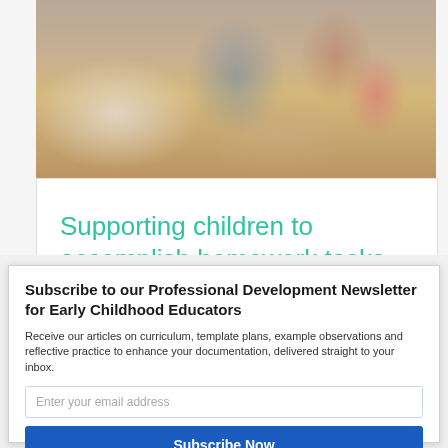[Figure (photo): Classroom scene with children and an adult sitting around a table doing homework tasks, blurred/out-of-focus background]
Supporting children to accomplish homework tasks
Subscribe to our Professional Development Newsletter for Early Childhood Educators
Receive our articles on curriculum, template plans, example observations and reflective practice to enhance your documentation, delivered straight to your inbox.
Enter your email address
Subscribe Now